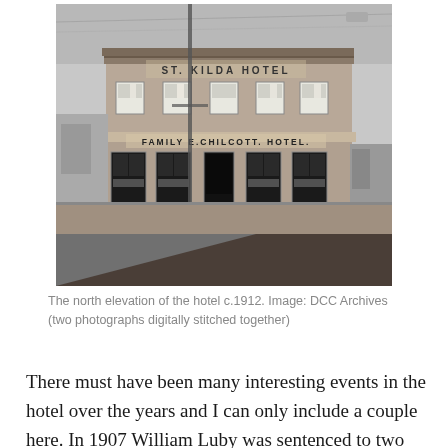[Figure (photo): Black and white photograph of the north elevation of the St. Kilda Hotel, showing a two-storey brick building with signage reading 'ST. KILDA HOTEL' on the upper level and 'FAMILY E. CHILCOTT. HOTEL.' on the lower level. Taken circa 1912, digitally stitched from two photographs. Image credit: DCC Archives.]
The north elevation of the hotel c.1912. Image: DCC Archives (two photographs digitally stitched together)
There must have been many interesting events in the hotel over the years and I can only include a couple here. In 1907 William Luby was sentenced to two months hard